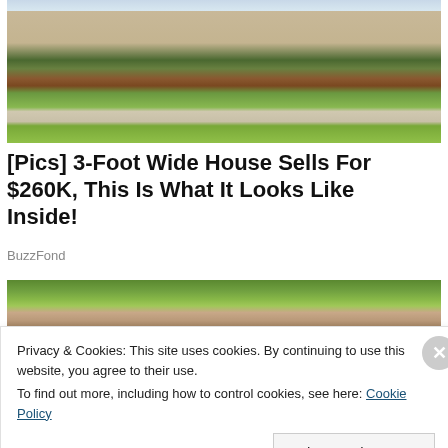[Figure (photo): Exterior photo of a beige/tan two-story house with white front door, evergreen shrubs, mulched garden beds, and green lawn in spring]
[Pics] 3-Foot Wide House Sells For $260K, This Is What It Looks Like Inside!
BuzzFond
[Figure (photo): Two men outdoors, one with gray hair and sunglasses, the other holding a camera, with green foliage in background]
Privacy & Cookies: This site uses cookies. By continuing to use this website, you agree to their use.
To find out more, including how to control cookies, see here: Cookie Policy
Close and accept